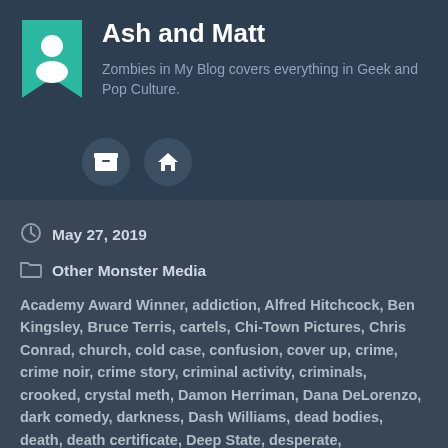Ash and Matt
Zombies in My Blog covers everything in Geek and Pop Culture.
May 27, 2019
Other Monster Media
Academy Award Winner, addiction, Alfred Hitchcock, Ben Kingsley, Bruce Terris, cartels, Chi-Town Pictures, Chris Conrad, church, cold case, confusion, cover up, crime, crime noir, crime story, criminal activity, criminals, crooked, crystal meth, Damon Herriman, Dana DeLorenzo, dark comedy, darkness, Dash Williams, dead bodies, death, death certificate, Deep State, desperate, desperation, detention center, disillusioned, drama, drug addicts, drug cartel, drugs, Elephant Pictures, Eleven, Eliana Alexander, Episode 1, Episode 2, EPIX, EPIX NOW, EPIX Original Series, EPIX Originals, Fan Artist